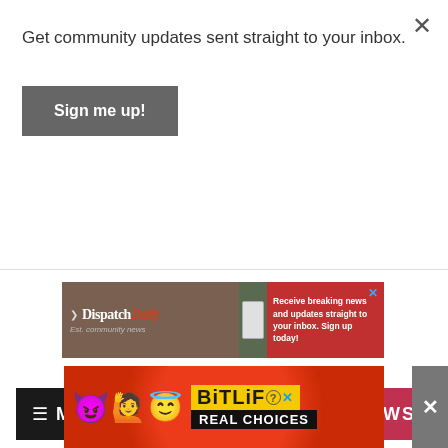Get community updates sent straight to your inbox.
Sign me up!
[Figure (infographic): Dispatch Daily newsletter ad banner with logo on left brown/floral background and red right side with text 'Receive breaking news and updates straight to your inbox. Sign up today!']
[Figure (screenshot): Navigation bar with dark background showing hamburger menu and MENU text on left, and NEWS label on crimson/pink right side]
[Figure (photo): Outdoor photo showing blue sky on left portion and green tree on right portion with grey structure]
[Figure (infographic): BitLife Real Choices advertisement banner with emoji characters (devil, person, angel) on red dotted background with BitLife logo and 'REAL CHOICES' text in black box]